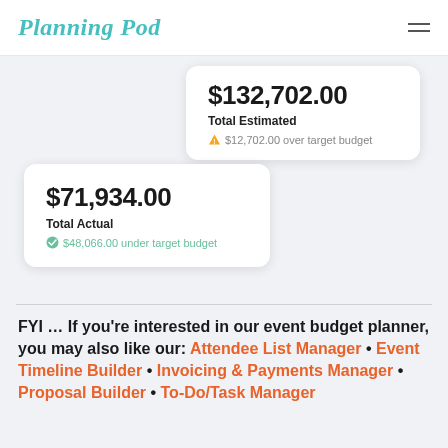Planning Pod
$132,702.00 | Total Estimated | ⚠ $12,702.00 over target budget
$71,934.00 | Total Actual | ✓ $48,066.00 under target budget
FYI … If you're interested in our event budget planner, you may also like our: Attendee List Manager • Event Timeline Builder • Invoicing & Payments Manager • Proposal Builder • To-Do/Task Manager